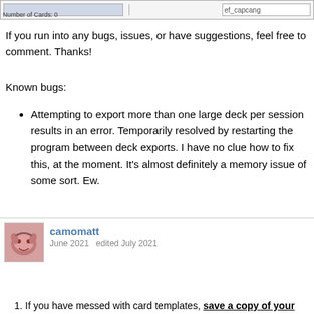[Figure (screenshot): Top UI bar showing input fields and 'Number of Cards: 0' label and 'ef_capcang' dropdown on the right]
If you run into any bugs, issues, or have suggestions, feel free to comment. Thanks!
Known bugs:
Attempting to export more than one large deck per session results in an error. Temporarily resolved by restarting the program between deck exports. I have no clue how to fix this, at the moment. It's almost definitely a memory issue of some sort. Ew.
camomatt
June 2021   edited July 2021
12
Updated to 0.15.0. You can download the latest update here. Before you update, please read below. This update changes how ccfg (card templates) are saved and loaded.
If you have messed with card templates, save a copy of your ccfg file(s) before using the new executable. I don't want any work you